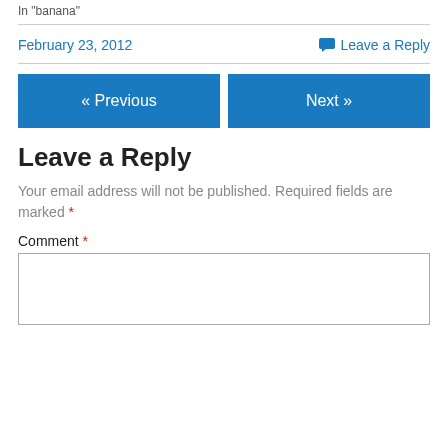In "banana"
February 23, 2012
Leave a Reply
« Previous
Next »
Leave a Reply
Your email address will not be published. Required fields are marked *
Comment *